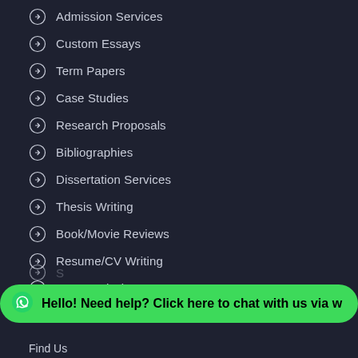Admission Services
Custom Essays
Term Papers
Case Studies
Research Proposals
Bibliographies
Dissertation Services
Thesis Writing
Book/Movie Reviews
Resume/CV Writing
Data Analysis
Hello! Need help? Click here to chat with us via w
Find Us